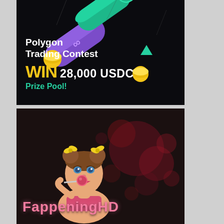[Figure (infographic): Polygon Trading Contest advertisement banner on dark background with crypto coin illustrations (purple Polygon coin, green coin with K logo). Text reads 'Polygon Trading Contest WIN 28,000 USDC Prize Pool!']
[Figure (illustration): FappeningHD advertisement banner with dark background featuring red splatter pattern. Illustrated woman with buns hairstyle and yellow bows sucking a lollipop. Text at bottom reads 'FappeningHD'.]